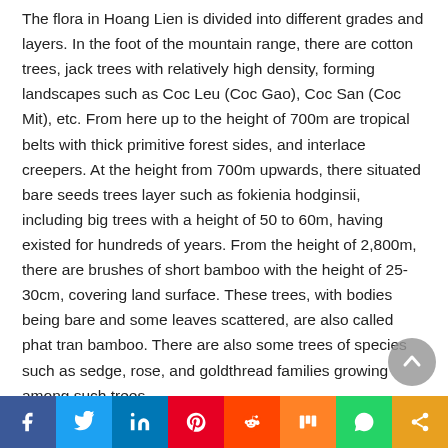The flora in Hoang Lien is divided into different grades and layers. In the foot of the mountain range, there are cotton trees, jack trees with relatively high density, forming landscapes such as Coc Leu (Coc Gao), Coc San (Coc Mit), etc. From here up to the height of 700m are tropical belts with thick primitive forest sides, and interlace creepers. At the height from 700m upwards, there situated bare seeds trees layer such as fokienia hodginsii, including big trees with a height of 50 to 60m, having existed for hundreds of years. From the height of 2,800m, there are brushes of short bamboo with the height of 25-30cm, covering land surface. These trees, with bodies being bare and some leaves scattered, are also called phat tran bamboo. There are also some trees of species such as sedge, rose, and goldthread families growing among such trees.
Social share bar: Facebook, Twitter, LinkedIn, Pinterest, Reddit, Mix, WhatsApp, Share